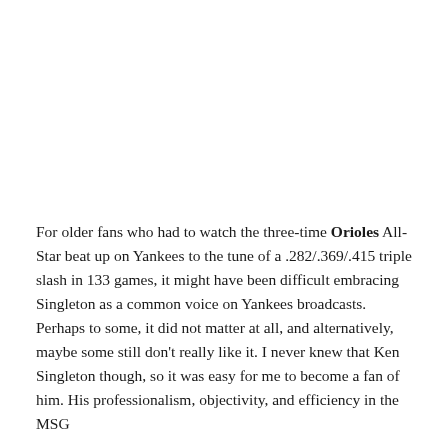For older fans who had to watch the three-time Orioles All-Star beat up on Yankees to the tune of a .282/.369/.415 triple slash in 133 games, it might have been difficult embracing Singleton as a common voice on Yankees broadcasts. Perhaps to some, it did not matter at all, and alternatively, maybe some still don't really like it. I never knew that Ken Singleton though, so it was easy for me to become a fan of him. His professionalism, objectivity, and efficiency in the MSG...